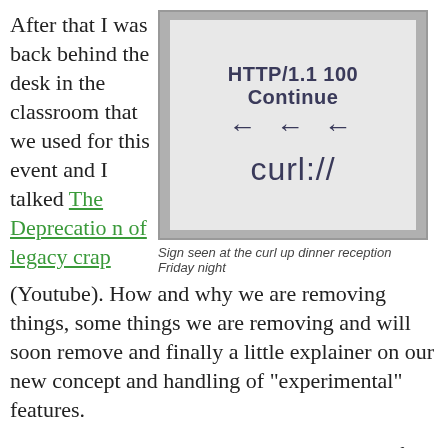After that I was back behind the desk in the classroom that we used for this event and I talked The Deprecation of legacy crap (Youtube). How and why we are removing things, some things we are removing and will soon remove and finally a little explainer on our new concept and handling of "experimental" features.
[Figure (photo): A white sign reading 'HTTP/1.1 100 Continue' with three left-pointing arrows and the curl:// logo below, seen at the curl up dinner reception Friday night.]
Sign seen at the curl up dinner reception Friday night
Igor Chubin then explained his new protect for us: curlator: a